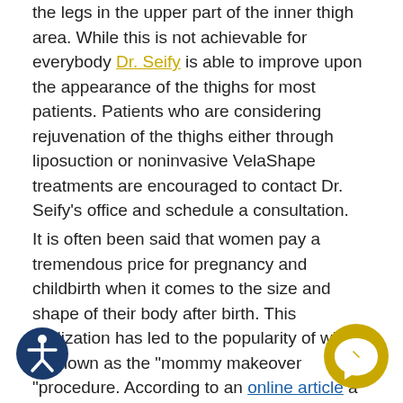the legs in the upper part of the inner thigh area. While this is not achievable for everybody Dr. Seify is able to improve upon the appearance of the thighs for most patients. Patients who are considering rejuvenation of the thighs either through liposuction or noninvasive VelaShape treatments are encouraged to contact Dr. Seify's office and schedule a consultation.
It is often been said that women pay a tremendous price for pregnancy and childbirth when it comes to the size and shape of their body after birth. This realization has led to the popularity of what is known as the "mommy makeover "procedure. According to an online article a mommy makeover is not a single procedure but instead a series of aesthetic
[Figure (illustration): Accessibility icon — dark blue circle with a white stick figure person in the center]
[Figure (illustration): Facebook Messenger icon — gold/amber circle with a white lightning-bolt chat bubble symbol]